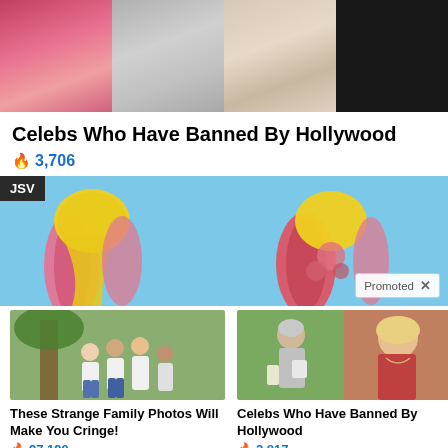[Figure (photo): Top banner showing partial images: pink/red sparkly garment, silver chain necklace, fuzzy pink coat, and person in dark clothing]
Celebs Who Have Banned By Hollywood
🔥 3,706
[Figure (photo): Medical illustration showing two side-by-side anatomical images of tendons and fatty tissue on a blue background, with JSV label and Promoted badge]
[Figure (photo): Family photo showing group of people posing outdoors by a tree]
These Strange Family Photos Will Make You Cringe!
🔥 97,190
[Figure (photo): Two images of women side by side]
Celebs Who Have Banned By Hollywood
🔥 2,817